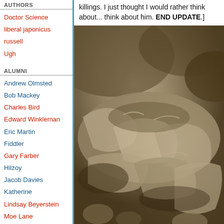AUTHORS
Doctor Science
liberal japonicus
russell
Ugh
ALUMNI
Andrew Olmsted
Bob Mackey
Charles Bird
Edward Winkleman
Eric Martin
Fiddler
Gary Farber
Hilzoy
Jacob Davies
Katherine
Lindsay Beyerstein
Moe Lane
Publius
Sebastian H
Slartibartfast
Thomas Nephew
killings. I just thought I would rather think about... think about him. END UPDATE.]
[Figure (photo): Photograph showing mummified or desiccated human remains piled together, appearing to be victims of mass violence or disaster, in a rocky/dusty setting.]